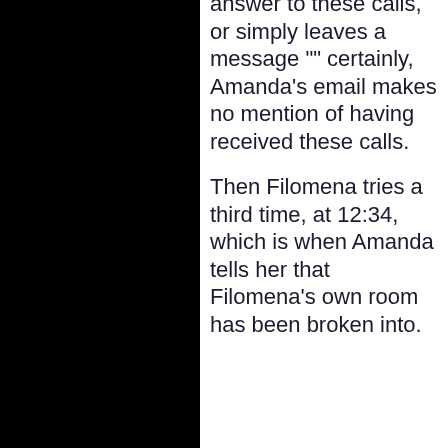answer to these calls, or simply leaves a message "" certainly, Amanda's email makes no mention of having received these calls.
Then Filomena tries a third time, at 12:34, which is when Amanda tells her that Filomena's own room has been broken into.